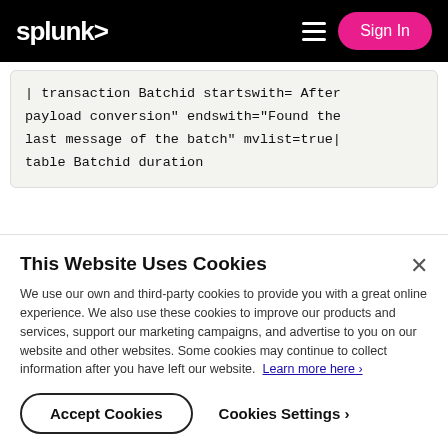splunk> Sign In
| transaction Batchid startswith= After payload conversion" endswith="Found the last message of the batch" mvlist=true| table Batchid duration
If I remove the transaction but keep the dedup I get only two messages per batchid (what I want) so I am not sure what is going wrong. It appears that I can't do
This Website Uses Cookies
We use our own and third-party cookies to provide you with a great online experience. We also use these cookies to improve our products and services, support our marketing campaigns, and advertise to you on our website and other websites. Some cookies may continue to collect information after you have left our website. Learn more here ›
Accept Cookies   Cookies Settings ›